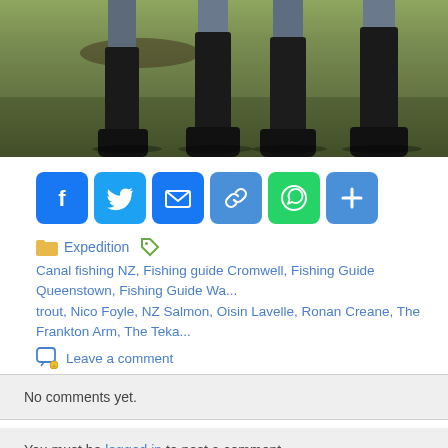[Figure (photo): Lower half of people standing on grassy terrain wearing black boots/waders, outdoor fishing scene]
Facebook, Twitter, Email, Link, WhatsApp, More (social share buttons)
Expedition  Canal fishing NZ, Fishing guide Cromwell, Fishing Guide Queenstown, Fishing Guide Wa... trout, Nico Foyle, NZ Salmon, Oisin Lavelle, Ronan Creane, The Frankton Arm, The Teka...
Leave a comment
No comments yet.
You must be logged in to post a comment.
Early Season Extravaganza!
Fly-Fis...